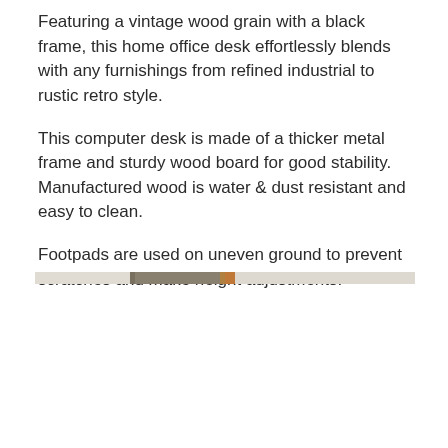Featuring a vintage wood grain with a black frame, this home office desk effortlessly blends with any furnishings from refined industrial to rustic retro style.
This computer desk is made of a thicker metal frame and sturdy wood board for good stability. Manufactured wood is water & dust resistant and easy to clean.
Footpads are used on uneven ground to prevent scratches and make height adjustments.
[Figure (photo): Partial photo strip showing a wood and metal surface, likely the edge of a desk]